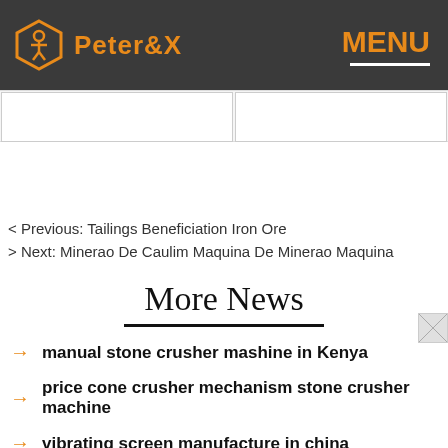Peter&X MENU
< Previous: Tailings Beneficiation Iron Ore
> Next: Minerao De Caulim Maquina De Minerao Maquina
More News
manual stone crusher mashine in Kenya
price cone crusher mechanism stone crusher machine
vibrating screen manufacture in china